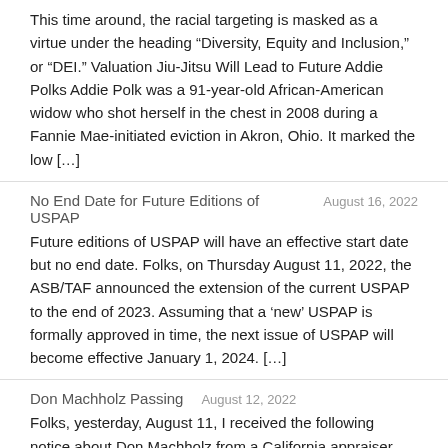This time around, the racial targeting is masked as a virtue under the heading “Diversity, Equity and Inclusion,” or “DEI.” Valuation Jiu-Jitsu Will Lead to Future Addie Polks Addie Polk was a 91-year-old African-American widow who shot herself in the chest in 2008 during a Fannie Mae-initiated eviction in Akron, Ohio. It marked the low […]
No End Date for Future Editions of USPAP
August 16, 2022
Future editions of USPAP will have an effective start date but no end date. Folks, on Thursday August 11, 2022, the ASB/TAF announced the extension of the current USPAP to the end of 2023. Assuming that a ‘new’ USPAP is formally approved in time, the next issue of USPAP will become effective January 1, 2024. […]
Don Machholz Passing
August 12, 2022
Folks, yesterday, August 11, I received the following notice about Don Machholz from a California appraiser, who requested this be circulated: With sadness, I wanted to share the news of Don Machholz passing on Tuesday, August 9 in Wikieup, AZ due to complications with COVID-19. Don was a real estate appraiser from 2003-2018 and was […]